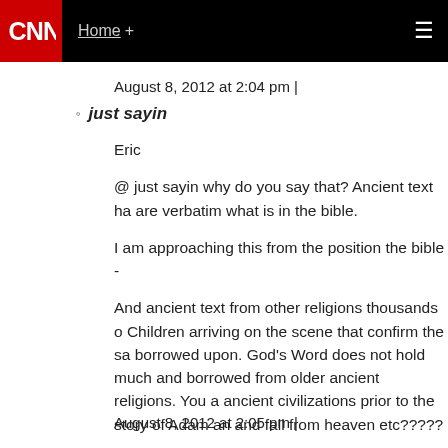CNN | Home +
August 8, 2012 at 2:04 pm |
just sayin
Eric

@ just sayin why do you say that? Ancient text ha are verbatim what is in the bible.

I am approaching this from the position the bible -

And ancient text from other religions thousands o Children arriving on the scene that confirm the sa borrowed upon. God's Word does not hold much and borrowed from older ancient religions. You a ancient civilizations prior to the story of Adam an and fall from heaven etc?????
August 8, 2012 at 2:05 pm |